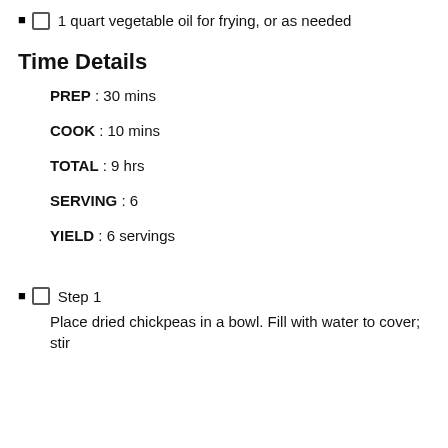1 quart vegetable oil for frying, or as needed
Time Details
PREP : 30 mins
COOK : 10 mins
TOTAL : 9 hrs
SERVING : 6
YIELD : 6 servings
Step 1
Place dried chickpeas in a bowl. Fill with water to cover; stir